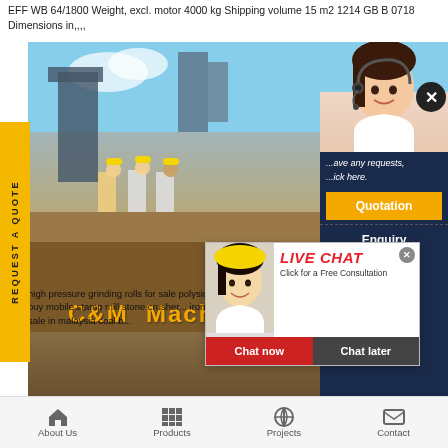EFF WB 64/1800 Weight, excl. motor 4000 kg Shipping volume 15 m2 1214 GB B 0718 Dimensions in,,,,
[Figure (screenshot): Website screenshot showing C&M Machinery page with construction workers in hard hats, a live chat popup overlay with 'LIVE CHAT Click for a Free Consultation' heading, Chat now and Chat later buttons, a right sidebar with a customer service agent, Quotation and Enquiry buttons, email drobilkalm@gmail.com, and a yellow 'REQUEST A QUOTE' vertical sidebar on the left.]
high pressure grinding rolls for sale polysius sandw... crusher pdf to buy mobile stamp mill stone crusher... iron ore impact crusher for sale in malaysia coal b...
About Us  Products  Projects  Contact